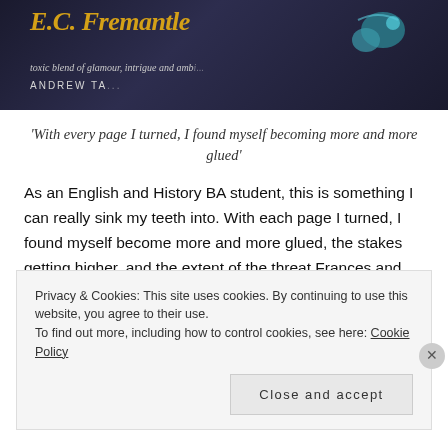[Figure (photo): Photo of a book cover showing 'E.C. Fremantle' in large yellow-gold italic text on a dark background, with text 'toxic blend of glamour, intrigue and amb...' and 'ANDREW TA...' partially visible]
'With every page I turned, I found myself becoming more and more glued'
As an English and History BA student, this is something I can really sink my teeth into. With each page I turned, I found myself become more and more glued, the stakes getting higher, and the extent of the threat Frances and Robert are under becoming more increased. It was pleasing that Fremantle nurtures historically accurate, or at least...
Privacy & Cookies: This site uses cookies. By continuing to use this website, you agree to their use.
To find out more, including how to control cookies, see here: Cookie Policy
Close and accept